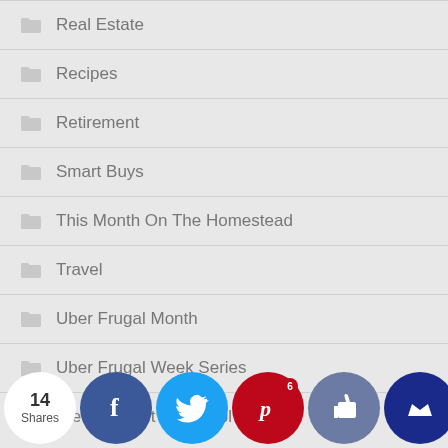Real Estate
Recipes
Retirement
Smart Buys
This Month On The Homestead
Travel
Uber Frugal Month
Uber Frugal Week Series
Weekly Woot & Grumbl…